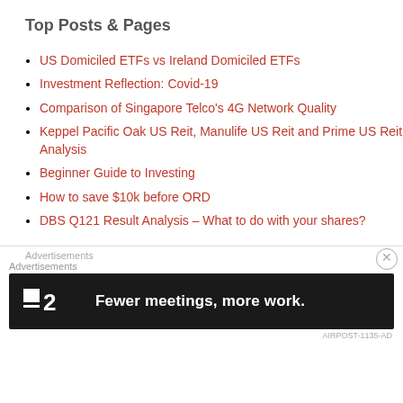Top Posts & Pages
US Domiciled ETFs vs Ireland Domiciled ETFs
Investment Reflection: Covid-19
Comparison of Singapore Telco's 4G Network Quality
Keppel Pacific Oak US Reit, Manulife US Reit and Prime US Reit Analysis
Beginner Guide to Investing
How to save $10k before ORD
DBS Q121 Result Analysis – What to do with your shares?
Advertisements
Advertisements
[Figure (other): Advertisement banner: black background with Fewer meetings, more work. text and a logo with number 2]